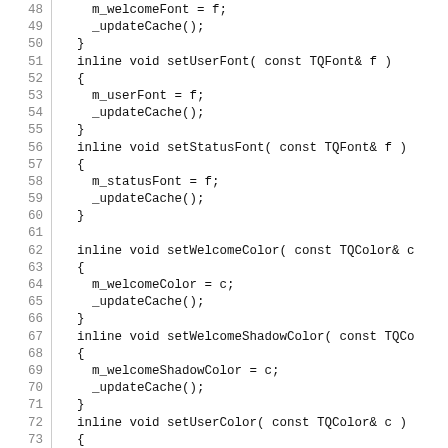[Figure (screenshot): Source code listing showing C++ inline void setter methods for font and color properties (lines 48-77), with line numbers on the left and code on the right separated by a vertical line.]